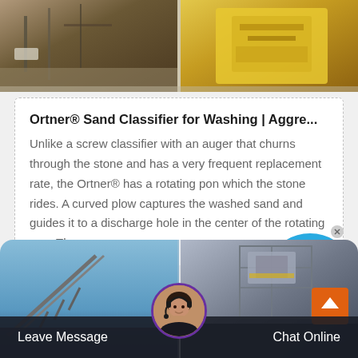[Figure (photo): Two photographs of aggregate/mining equipment — left shows a construction/mining site with stone and structures, right shows yellow industrial crushing equipment.]
Ortner® Sand Classifier for Washing | Aggre...
Unlike a screw classifier with an auger that churns through the stone and has a very frequent replacement rate, the Ortner® has a rotating p... on which the stone rides. A curved plow captures the washed sand and guides it to a discharge hole in the center of the rotating pan. The pan on an
[Figure (photo): Two photographs of industrial aggregate/mining equipment at a quarry — left shows a conveyor belt arm against a blue sky, right shows a scaffold structure with industrial machinery.]
Leave Message
Chat Online